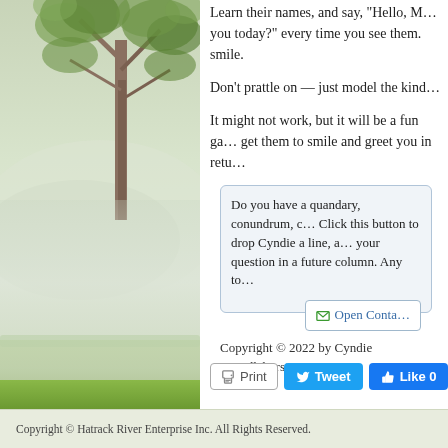[Figure (photo): Left panel: nature photo with trees, misty background, and green grass at bottom]
Learn their names, and say, "Hello, M... you today?" every time you see them. smile.
Don't prattle on — just model the kind...
It might not work, but it will be a fun ga... get them to smile and greet you in retu...
Do you have a quandary, conundrum, c... Click this button to drop Cyndie a line, a... your question in a future column. Any to...
Open Conta...
Copyright © 2022 by Cyndie Swindlehurst
Print  Tweet  Like 0
Copyright © Hatrack River Enterprise Inc. All Rights Reserved.